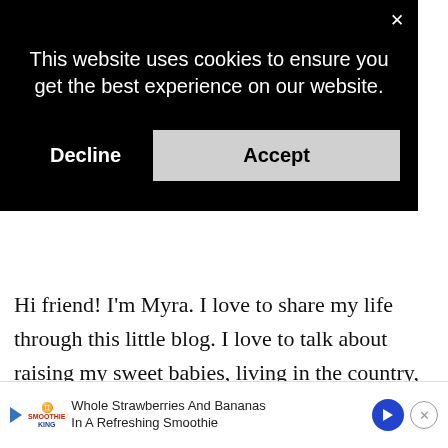[Figure (screenshot): Cookie consent banner overlay with black background, showing close button (×) in top right, cookie notice text, and two buttons: Decline (text only) and Accept (light gray button)]
This website uses cookies to ensure you get the best experience on our website.
Decline
Accept
Hi friend! I'm Myra. I love to share my life through this little blog. I love to talk about raising my sweet babies, living in the country, pretty things, delicious food, homeschooling, living VIBRANTLY and more! Life is a gift! Let's enjoy it together!
[Figure (screenshot): Advertisement banner at bottom: Smoothie King ad with play button, logo, text 'Whole Strawberries And Bananas In A Refreshing Smoothie', blue arrow circle icon, and close X button]